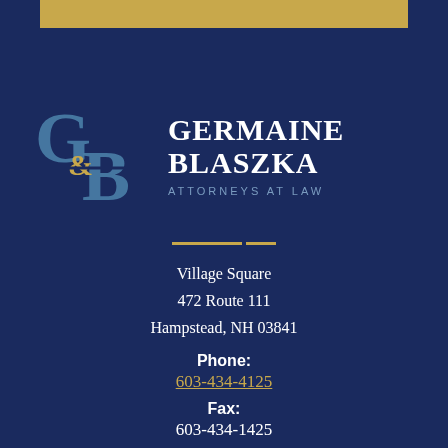[Figure (logo): Gold horizontal bar at top of page, decorative header element]
[Figure (logo): Germaine & Blaszka law firm logo with G&B monogram and firm name]
Village Square
472 Route 111
Hampstead, NH 03841
Phone:
603-434-4125
Fax:
603-434-1425